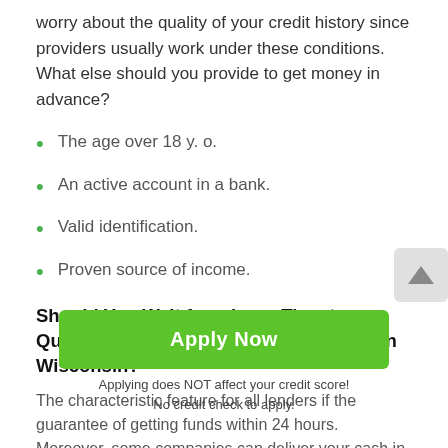worry about the quality of your credit history since providers usually work under these conditions. What else should you provide to get money in advance?
The age over 18 y. o.
An active account in a bank.
Valid identification.
Proven source of income.
Should You Wait for a Long Time to Qualify for Easy Payday Loans Benton in Wisconsin?
The characteristic feature for all lenders if the guarantee of getting funds within 24 hours. Moreover, some companies can deliver your cash in 15 minutes. It is the crucial difference between this service and the bank's offers. The process is fast when you are executing online. The entire procedure also takes less time if you find payday
Apply Now
Applying does NOT affect your credit score!
No credit check to apply.